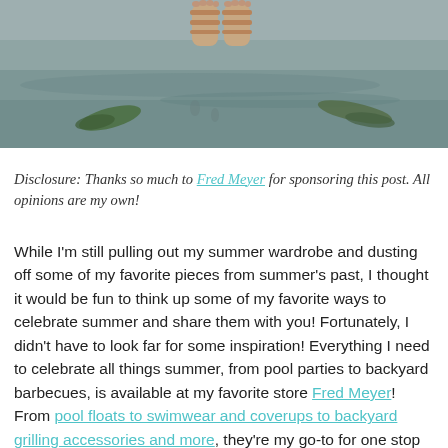[Figure (photo): Beach scene viewed from above showing feet in sandals standing on wet sand with patches of seaweed visible]
Disclosure: Thanks so much to Fred Meyer for sponsoring this post. All opinions are my own!
While I'm still pulling out my summer wardrobe and dusting off some of my favorite pieces from summer's past, I thought it would be fun to think up some of my favorite ways to celebrate summer and share them with you! Fortunately, I didn't have to look far for some inspiration! Everything I need to celebrate all things summer, from pool parties to backyard barbecues, is available at my favorite store Fred Meyer! From pool floats to swimwear and coverups to backyard grilling accessories and more, they're my go-to for one stop shopping.